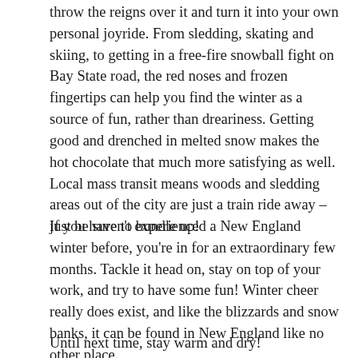throw the reigns over it and turn it into your own personal joyride. From sledding, skating and skiing, to getting in a free-fire snowball fight on Bay State road, the red noses and frozen fingertips can help you find the winter as a source of fun, rather than dreariness. Getting good and drenched in melted snow makes the hot chocolate that much more satisfying as well. Local mass transit means woods and sledding areas out of the city are just a train ride away – just be sure to bundle up!
If you haven't experienced a New England winter before, you're in for an extraordinary few months. Tackle it head on, stay on top of your work, and try to have some fun! Winter cheer really does exist, and like the blizzards and snow banks, it can be found in New England like no other place.
Until next time, stay warm and dry!